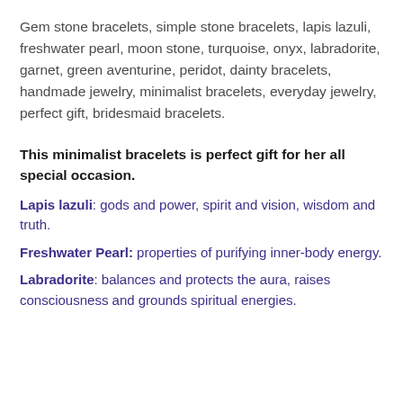Gem stone bracelets, simple stone bracelets, lapis lazuli, freshwater pearl, moon stone, turquoise, onyx, labradorite, garnet, green aventurine, peridot, dainty bracelets, handmade jewelry, minimalist bracelets, everyday jewelry, perfect gift, bridesmaid bracelets.
This minimalist bracelets is perfect gift for her all special occasion.
Lapis lazuli: gods and power, spirit and vision, wisdom and truth.
Freshwater Pearl: properties of purifying inner-body energy.
Labradorite: balances and protects the aura, raises consciousness and grounds spiritual energies.